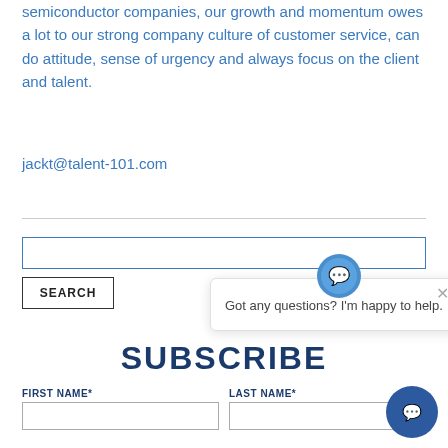semiconductor companies, our growth and momentum owes a lot to our strong company culture of customer service, can do attitude, sense of urgency and always focus on the client and talent.
jackt@talent-101.com
[Figure (screenshot): Search input field with a blue border]
[Figure (screenshot): SEARCH button with border]
SUBSCRIBE
FIRST NAME*
LAST NAME*
[Figure (screenshot): Chat popup overlay with message: Got any questions? I'm happy to help. with a close X button and a chat bot icon.]